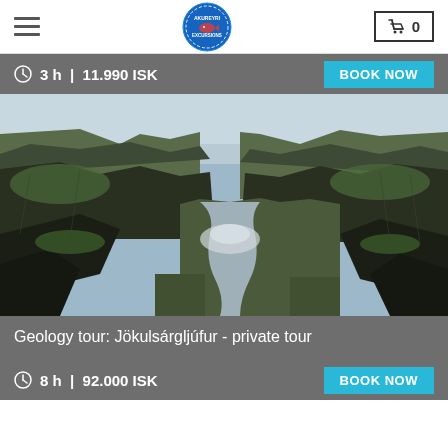Navigation bar with hamburger menu, Akureyri logo, and cart (0)
3 h | 11.990 ISK
BOOK NOW
[Figure (photo): Aerial view of Jökulsárgljúfur canyon with a river winding through dark basalt cliffs and green hillsides, with a waterfall visible in the middle distance]
Geology tour: Jökulsárgljúfur - private tour
8 h | 92.000 ISK
BOOK NOW